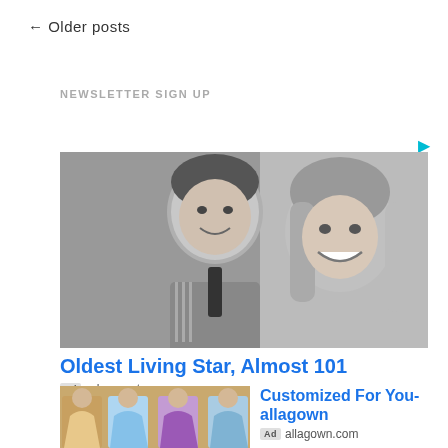← Older posts
NEWSLETTER SIGN UP
[Figure (photo): Black and white photo of a man and woman smiling, vintage style]
Oldest Living Star, Almost 101
Ad urbanaunty.com
[Figure (photo): Four women in colorful formal/prom dresses]
Customized For You-allagown
Ad allagown.com